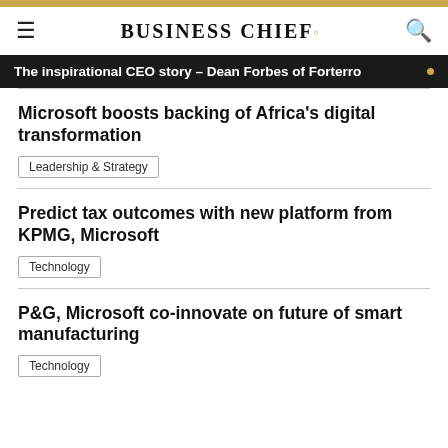BUSINESS CHIEF.
The inspirational CEO story – Dean Forbes of Forterro
Microsoft boosts backing of Africa's digital transformation
Leadership & Strategy
Predict tax outcomes with new platform from KPMG, Microsoft
Technology
P&G, Microsoft co-innovate on future of smart manufacturing
Technology